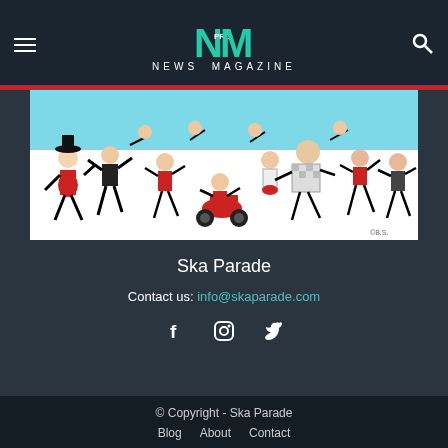NEWS MAGAZINE
[Figure (illustration): Colorful cartoon illustration of a crowd of people dancing and moving in a chaotic parade scene, with figures in red, black and white on a light blue background. Ska parade themed artwork.]
Ska Parade
Contact us: info@skaparade.com
[Figure (infographic): Social media icons: Facebook (f), Instagram (camera), Twitter (bird)]
© Copyright - Ska Parade
Blog  About  Contact